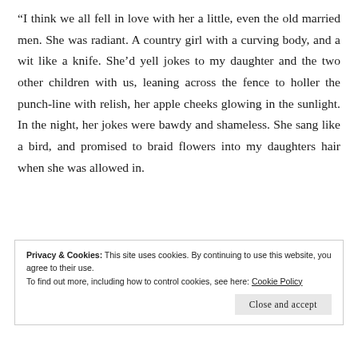“I think we all fell in love with her a little, even the old married men. She was radiant. A country girl with a curving body, and a wit like a knife. She’d yell jokes to my daughter and the two other children with us, leaning across the fence to holler the punch-line with relish, her apple cheeks glowing in the sunlight. In the night, her jokes were bawdy and shameless. She sang like a bird, and promised to braid flowers into my daughters hair when she was allowed in.
Privacy & Cookies: This site uses cookies. By continuing to use this website, you agree to their use.
To find out more, including how to control cookies, see here: Cookie Policy
Close and accept